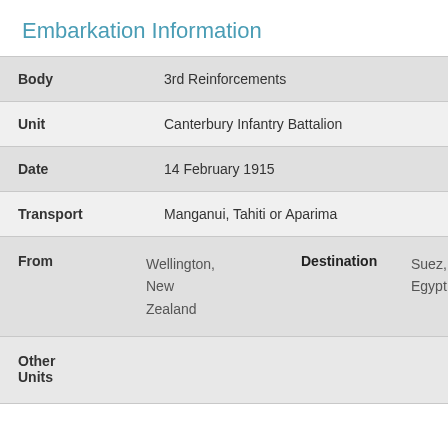Embarkation Information
| Field | Value |
| --- | --- |
| Body | 3rd Reinforcements |
| Unit | Canterbury Infantry Battalion |
| Date | 14 February 1915 |
| Transport | Manganui, Tahiti or Aparima |
| From / Destination | Wellington, New Zealand / Suez, Egypt |
| Other Units |  |